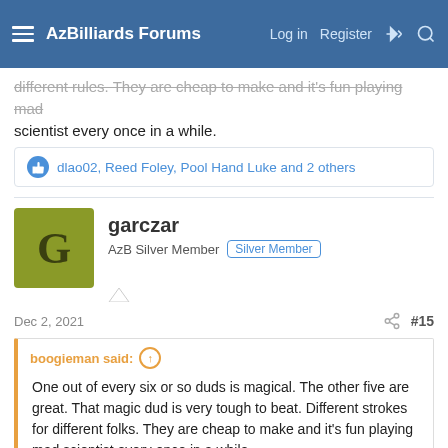AzBilliards Forums | Log in | Register
different rules. They are cheap to make and it's fun playing mad scientist every once in a while.
dlao02, Reed Foley, Pool Hand Luke and 2 others
garczar
AzB Silver Member | Silver Member
Dec 2, 2021  #15
boogieman said: One out of every six or so duds is magical. The other five are great. That magic dud is very tough to beat. Different strokes for different folks. They are cheap to make and it's fun playing mad scientist every once in a while.
I've tried a few different duds. Just another tip. The word 'magical' never entered my mind. It hasn't for any tip. I've watched videos of the process. I'd rather mow the yard to be